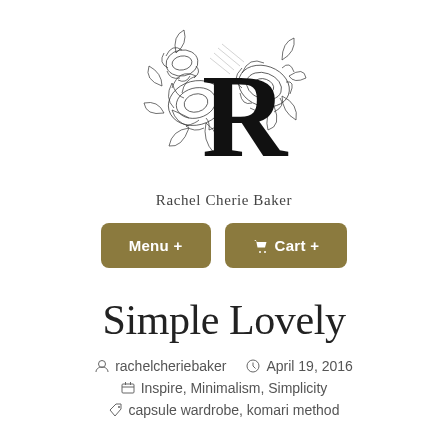[Figure (logo): Rachel Cherie Baker logo: large decorative letter R overlaid on floral line-art illustration of peonies/roses, black and white sketch style]
Rachel Cherie Baker
Menu +
Cart +
Simple Lovely
rachelcheriebaker   April 19, 2016
Inspire, Minimalism, Simplicity
capsule wardrobe, komari method